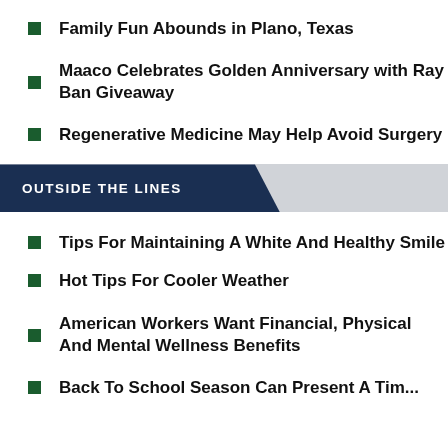Family Fun Abounds in Plano, Texas
Maaco Celebrates Golden Anniversary with Ray Ban Giveaway
Regenerative Medicine May Help Avoid Surgery
OUTSIDE THE LINES
Tips For Maintaining A White And Healthy Smile
Hot Tips For Cooler Weather
American Workers Want Financial, Physical And Mental Wellness Benefits
Back To School Season Can Present A Ti...